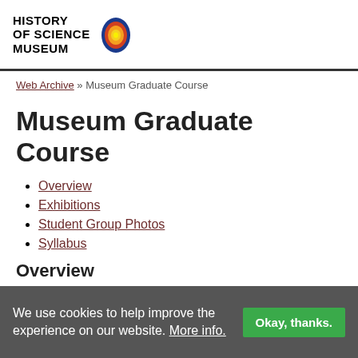[Figure (logo): History of Science Museum logo with bold text and concentric circle graphic in orange, yellow, red, and blue]
Web Archive » Museum Graduate Course
Museum Graduate Course
Overview
Exhibitions
Student Group Photos
Syllabus
Overview
From 1991 to 2004, the Museum offered a one...
We use cookies to help improve the experience on our website. More info.